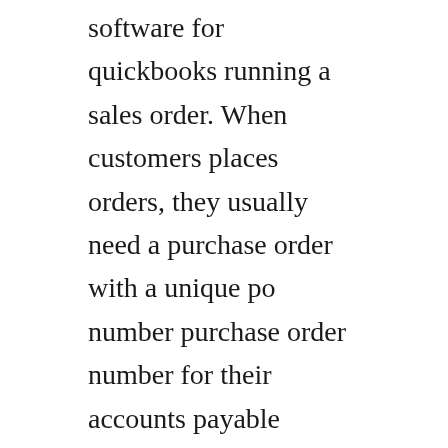software for quickbooks running a sales order. When customers places orders, they usually need a purchase order with a unique po number purchase order number for their accounts payable process. It extends the accounting features of quickbooks, giving users the ability to synchronize and authenticate inventory items, vendors, purchase orders, customers. Dont forget to check out our quickbooks connector mobile apps. Streamline your business and increase customer satisfaction with handshakes turnkey quickbooks integration. Available